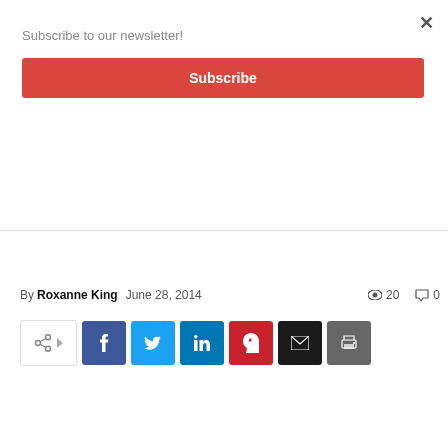Subscribe to our newsletter!
Subscribe
×
On Mission  Focus  Local
Discipleship isn't sanctity, it's a journey, author says
By Roxanne King   June 28, 2014   20 views   0 comments
[Figure (other): Social share buttons: share toggle, Facebook, Twitter, LinkedIn, Pinterest, Email, Print]